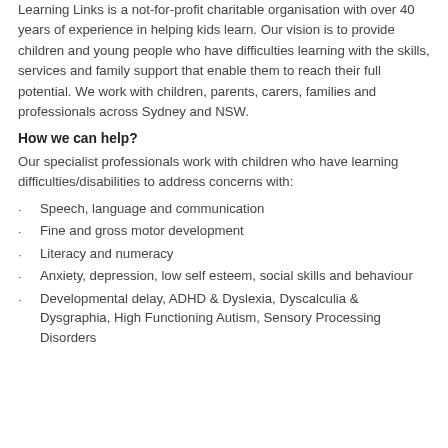Learning Links is a not-for-profit charitable organisation with over 40 years of experience in helping kids learn. Our vision is to provide children and young people who have difficulties learning with the skills, services and family support that enable them to reach their full potential. We work with children, parents, carers, families and professionals across Sydney and NSW.
How we can help?
Our specialist professionals work with children who have learning difficulties/disabilities to address concerns with:
Speech, language and communication
Fine and gross motor development
Literacy and numeracy
Anxiety, depression, low self esteem, social skills and behaviour
Developmental delay, ADHD & Dyslexia, Dyscalculia & Dysgraphia, High Functioning Autism, Sensory Processing Disorders